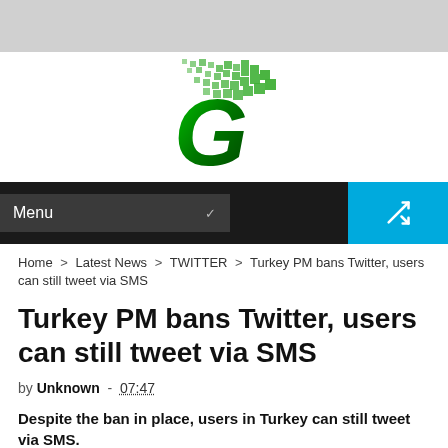[Figure (logo): Green stylized letter G with pixel/dot pattern above it — website logo]
Menu  [shuffle button]
Home > Latest News > TWITTER > Turkey PM bans Twitter, users can still tweet via SMS
Turkey PM bans Twitter, users can still tweet via SMS
by Unknown - 07:47
Despite the ban in place, users in Turkey can still tweet via SMS.